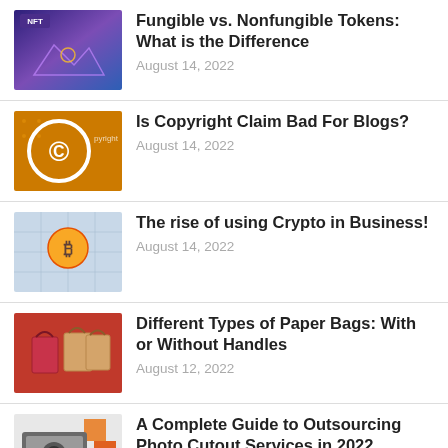Fungible vs. Nonfungible Tokens: What is the Difference — August 14, 2022
Is Copyright Claim Bad For Blogs? — August 14, 2022
The rise of using Crypto in Business! — August 14, 2022
Different Types of Paper Bags: With or Without Handles — August 12, 2022
A Complete Guide to Outsourcing Photo Cutout Services in 2022 — August 12, 2022